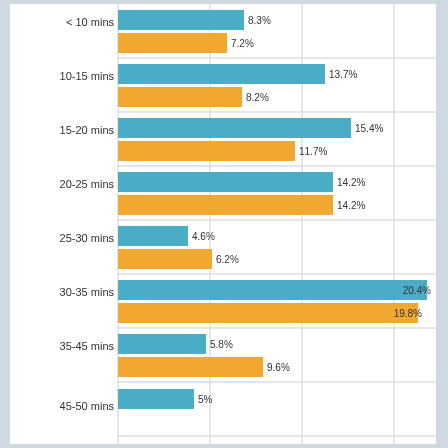[Figure (grouped-bar-chart): Travel time distribution]